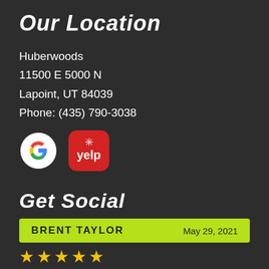Our Location
Huberwoods
11500 E 5000 N
Lapoint, UT 84039
Phone: (435) 790-3038
[Figure (logo): Google logo and Yelp logo icons side by side]
Get Social
BRENT TAYLOR    May 29, 2021
[Figure (other): Five yellow star rating icons]